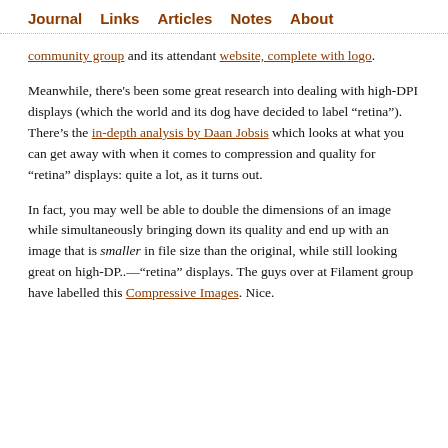Journal  Links  Articles  Notes  About
community group and its attendant website, complete with logo.
Meanwhile, there's been some great research into dealing with high-DPI displays (which the world and its dog have decided to label “retina”). There’s the in-depth analysis by Daan Jobsis which looks at what you can get away with when it comes to compression and quality for “retina” displays: quite a lot, as it turns out.
In fact, you may well be able to double the dimensions of an image while simultaneously bringing down its quality and end up with an image that is smaller in file size than the original, while still looking great on high-DP..—“retina” displays. The guys over at Filament group have labelled this Compressive Images. Nice.